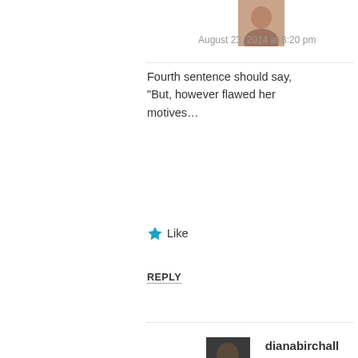[Figure (photo): Small avatar photo of a person, top right area]
August 23, 2014 at 8:20 pm
Fourth sentence should say, “But, however flawed her motives…
★ Like
REPLY
[Figure (photo): Small avatar photo of dianabirchall]
dianabirchall said:
August 23, 2014 at 10:45 pm
“There is some kind of loyalty” – very good point, Maidrya. I think, of all her family, Mrs. Norris does care for Maria the most, perhaps sees her as her daughter. To go to